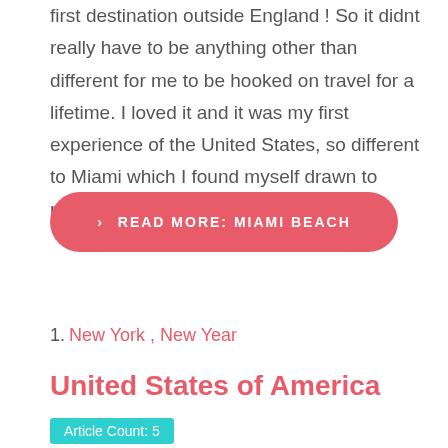first destination outside England ! So it didnt really have to be anything other than different for me to be hooked on travel for a lifetime. I loved it and it was my first experience of the United States, so different to Miami which I found myself drawn to many years later.
> READ MORE: MIAMI BEACH
1. New York , New Year
United States of America
Article Count: 5